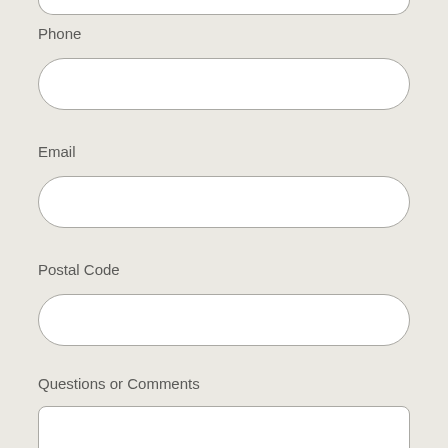Phone
Email
Postal Code
Questions or Comments